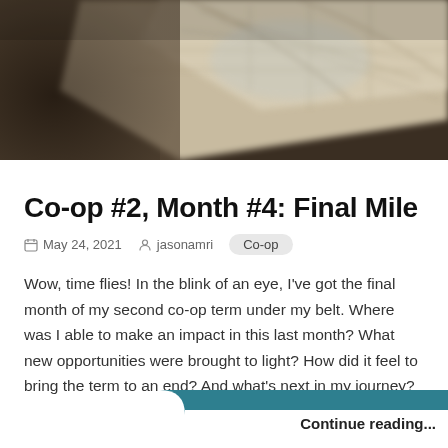[Figure (photo): Blurred overhead photo of maps/papers on a dark surface, used as hero image for blog post]
Co-op #2, Month #4: Final Mile
May 24, 2021   jasonamri   Co-op
Wow, time flies! In the blink of an eye, I've got the final month of my second co-op term under my belt. Where was I able to make an impact in this last month? What new opportunities were brought to light? How did it feel to bring the term to an end? And what's next in my journey?
Continue reading...